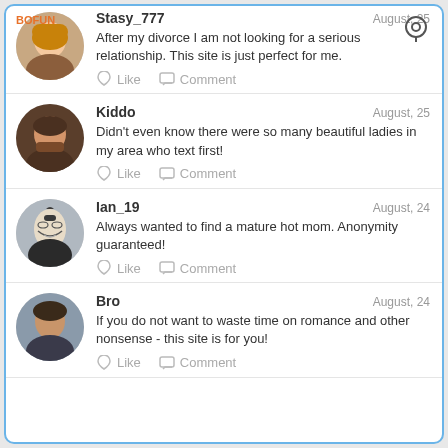[Figure (screenshot): Social media feed screenshot showing user posts/testimonials about a dating site, with avatars, usernames, dates, post text, and like/comment buttons.]
Stasy_777 — August, 25
After my divorce I am not looking for a serious relationship. This site is just perfect for me.
Kiddo — August, 25
Didn't even know there were so many beautiful ladies in my area who text first!
Ian_19 — August, 24
Always wanted to find a mature hot mom. Anonymity guaranteed!
Bro — August, 24
If you do not want to waste time on romance and other nonsense - this site is for you!